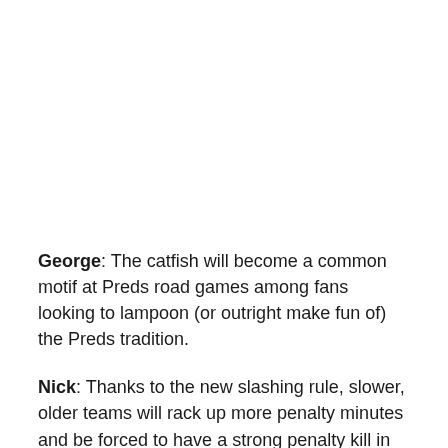George: The catfish will become a common motif at Preds road games among fans looking to lampoon (or outright make fun of) the Preds tradition.
Nick: Thanks to the new slashing rule, slower, older teams will rack up more penalty minutes and be forced to have a strong penalty kill in order to succeed.